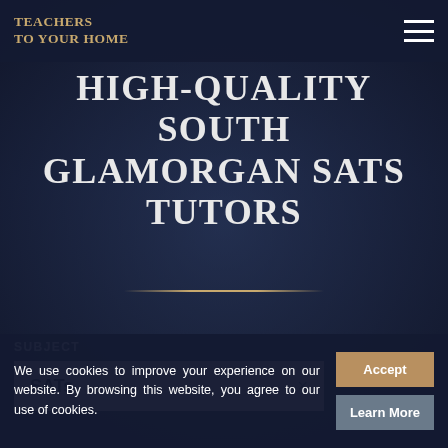TEACHERS TO YOUR HOME
HIGH-QUALITY SOUTH GLAMORGAN SATS TUTORS
SUBJECT
SATs ×
We use cookies to improve your experience on our website. By browsing this website, you agree to our use of cookies.
Accept
Learn More